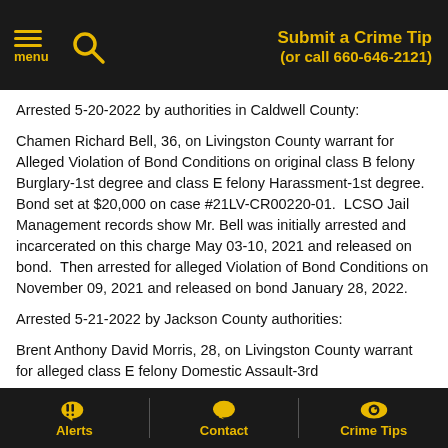Submit a Crime Tip (or call 660-646-2121)
Arrested 5-20-2022 by authorities in Caldwell County:
Chamen Richard Bell, 36, on Livingston County warrant for Alleged Violation of Bond Conditions on original class B felony Burglary-1st degree and class E felony Harassment-1st degree.  Bond set at $20,000 on case #21LV-CR00220-01.  LCSO Jail Management records show Mr. Bell was initially arrested and incarcerated on this charge May 03-10, 2021 and released on bond.  Then arrested for alleged Violation of Bond Conditions on November 09, 2021 and released on bond January 28, 2022.
Arrested 5-21-2022 by Jackson County authorities:
Brent Anthony David Morris, 28, on Livingston County warrant for alleged class E felony Domestic Assault-3rd
Alerts | Contact | Crime Tips